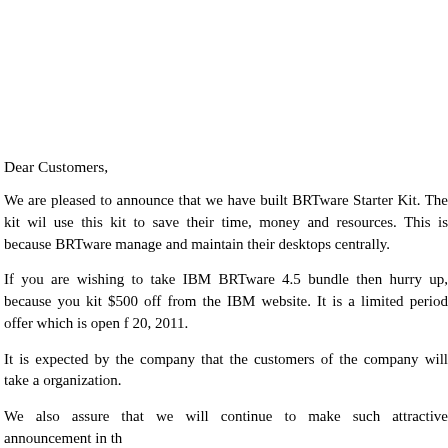Dear Customers,
We are pleased to announce that we have built BRTware Starter Kit. The kit will use this kit to save their time, money and resources. This is because BRTware manage and maintain their desktops centrally.
If you are wishing to take IBM BRTware 4.5 bundle then hurry up, because you kit $500 off from the IBM website. It is a limited period offer which is open for 20, 2011.
It is expected by the company that the customers of the company will take a organization.
We also assure that we will continue to make such attractive announcement in th